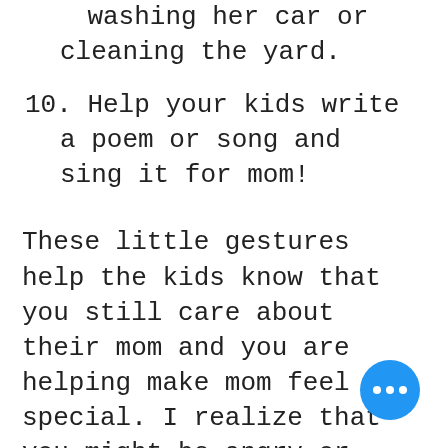washing her car or cleaning the yard.
10. Help your kids write a poem or song and sing it for mom!
These little gestures help the kids know that you still care about their mom and you are helping make mom feel special. I realize that you might be angry or upset with your x and the challenge of being kind might sound tough! But, when you take a minute to think about the cooperative goals in divorced co-parenting- it is easier to take the right steps.